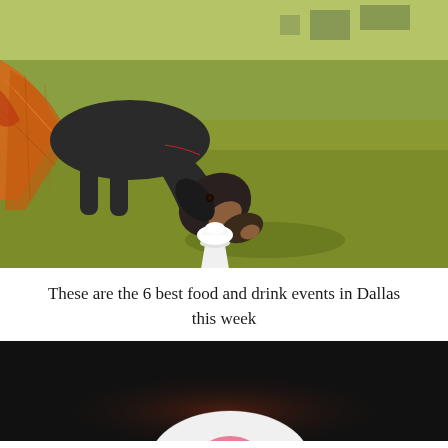[Figure (photo): A black dachshund dog wearing an orange plaid blanket/vest, leaning down to eat from a white cup filled with whipped cream, on a green grass background outdoors with picnic tables visible in background.]
These are the 6 best food and drink events in Dallas this week
[Figure (photo): Dark background photo showing what appears to be a white plate with pink food item, partially visible at bottom of page.]